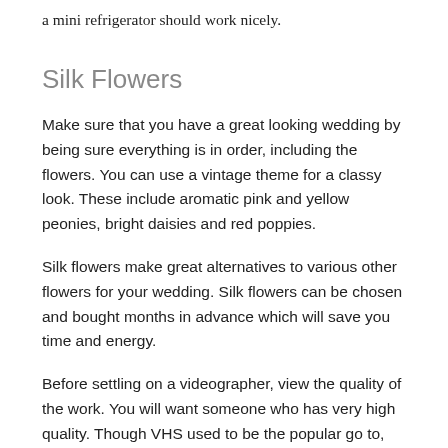a mini refrigerator should work nicely.
Silk Flowers
Make sure that you have a great looking wedding by being sure everything is in order, including the flowers. You can use a vintage theme for a classy look. These include aromatic pink and yellow peonies, bright daisies and red poppies.
Silk flowers make great alternatives to various other flowers for your wedding. Silk flowers can be chosen and bought months in advance which will save you time and energy.
Before settling on a videographer, view the quality of the work. You will want someone who has very high quality. Though VHS used to be the popular go to, now you want